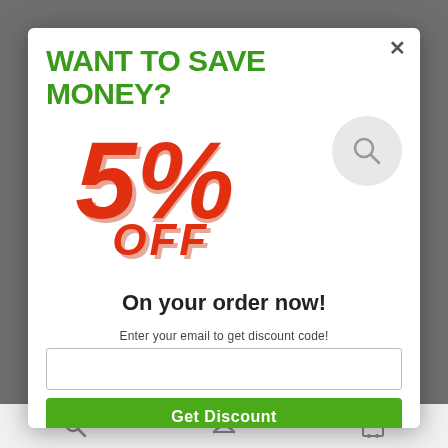[Figure (screenshot): Modal popup dialog on a website offering a 5% discount. Gray overlay behind white modal box.]
WANT TO SAVE MONEY?
5% OFF
On your order now!
Enter your email to get discount code!
Get Discount